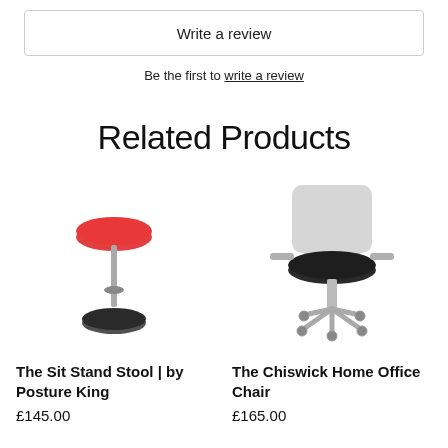Write a review
Be the first to write a review
Related Products
[Figure (photo): The Sit Stand Stool by Posture King - a red seated stool with a thin metal pole and a round black base]
The Sit Stand Stool | by Posture King
£145.00
[Figure (photo): The Chiswick Home Office Chair - a grey mesh office chair with black seat and silver wheeled base]
The Chiswick Home Office Chair
£165.00